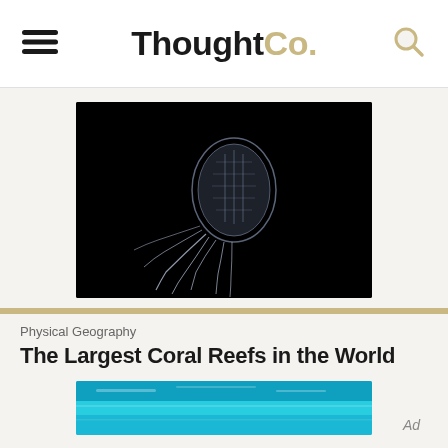ThoughtCo.
[Figure (photo): A translucent box jellyfish with long tentacles floating against a black background]
Physical Geography
The Largest Coral Reefs in the World
[Figure (photo): A coral reef scene with turquoise blue water]
Ad